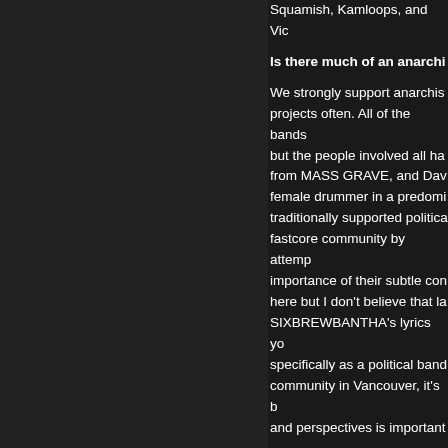Squamish, Kamloops, and Vic
Is there much of an anarchi
We strongly support anarchis projects often. All of the bands but the people involved all ha from MASS GRAVE, and Dav female drummer in a predomi traditionally supported politica fastcore community by attem importance of their subtle con here but I don't believe that la SIXBREWBANTHA's lyrics yo specifically as a political band community in Vancouver, it's b and perspectives is important
Aside from AHNA, are you i
We have been/are part of a co and underground music by ru opening in the city in early Ma groups who are interested to